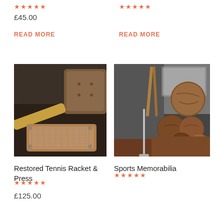★★★★★
£45.00
READ MORE
★★★★★
READ MORE
[Figure (photo): Vintage restored tennis racket and press lying on a dark leather surface with a brown leather cushion visible in background]
[Figure (photo): Collection of vintage sports memorabilia including leather medicine balls piled on a leather chair, with wooden equipment and mirrors in background]
Restored Tennis Racket & Press
★★★★★
£125.00
Sports Memorabilia
★★★★★